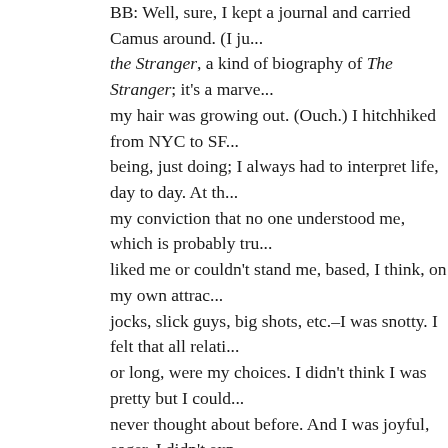BB: Well, sure, I kept a journal and carried Camus around. (I just finished the Stranger, a kind of biography of The Stranger; it's a marvelous book.) my hair was growing out. (Ouch.) I hitchhiked from NYC to SF… being, just doing; I always had to interpret life, day to day. At the time, my conviction that no one understood me, which is probably true. People liked me or couldn't stand me, based, I think, on my own attractiveness to jocks, slick guys, big shots, etc.–I was snotty. I felt that all relationships, or long, were my choices. I didn't think I was pretty but I could… never thought about before. And I was joyful, eager. I didn't expect… never a negotiation in my mind. I suspect I shocked a lot of boys in college?–because I also brought a lot of joy, a sense of fun, a free… never seduced; nobody could make me do what I didn't want to… felt superior but on the other hand I was kind of generous. I was… attachment. I lived with someone in Chicago because I was broke… had a real boyfriend, a real lover, until I met my first husband in NY. I was in an acting troupe at Cornell, and Al had come to see… lived in my house. We were like magnets. My whole life went on… had any kind of stability, but those years with him were the elec… about him in Mysteries of Love and Grief, which is made up of o…